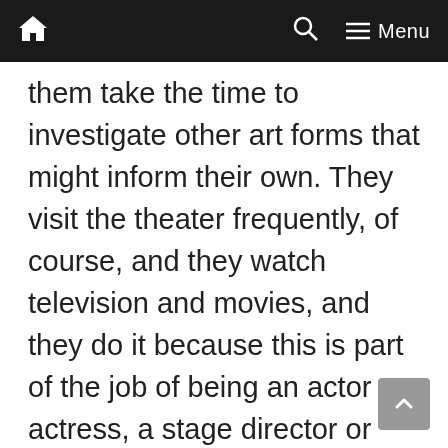🏠  🔍  ≡ Menu
them take the time to investigate other art forms that might inform their own. They visit the theater frequently, of course, and they watch television and movies, and they do it because this is part of the job of being an actor or actress, a stage director or designer. What I miss in talking to many of them is a familiarity with contemporary visual art or contemporary concert music. Given the number of qualities they